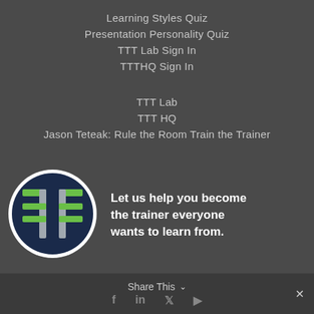Learning Styles Quiz
Presentation Personality Quiz
TTT Lab Sign In
TTTHQ Sign In
TTT Lab
TTT HQ
Jason Teteak: Rule the Room Train the Trainer
[Figure (logo): Circular logo with dark navy background featuring a stylized double-T torii gate design in green and gray]
Let us help you become the trainer everyone wants to learn from.
Share This ∨  ✕